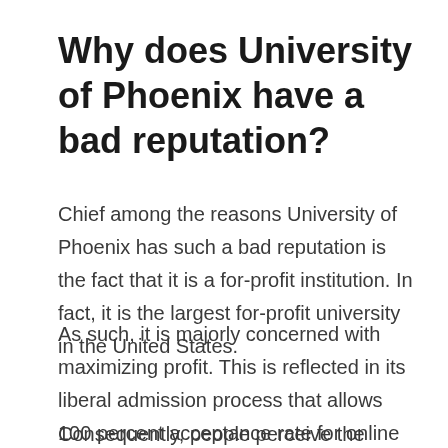Why does University of Phoenix have a bad reputation?
Chief among the reasons University of Phoenix has such a bad reputation is the fact that it is a for-profit institution. In fact, it is the largest for-profit university in the United States.
As such, it is majorly concerned with maximizing profit. This is reflected in its liberal admission process that allows 100 percent acceptance rate for online programs.
Consequently, people perceive the university as a cash-grabbing institution that cares nothing about its